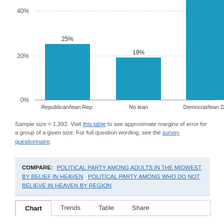[Figure (bar-chart): ]
Sample size = 1,392. Visit this table to see approximate margins of error for a group of a given size. For full question wording, see the survey questionnaire.
COMPARE: POLITICAL PARTY AMONG ADULTS IN THE MIDWEST BY BELIEF IN HEAVEN   POLITICAL PARTY AMONG WHO DO NOT BELIEVE IN HEAVEN BY REGION
Chart   Trends   Table   Share